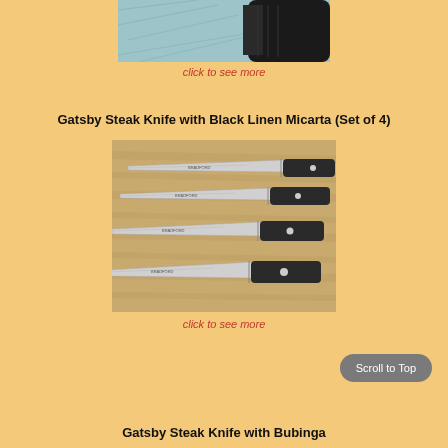[Figure (photo): Partial view of a knife handle (black) against a teal/blue textured background — top of page, cropped]
click to see more
Gatsby Steak Knife with Black Linen Micarta (Set of 4)
[Figure (photo): Four steak knives with black Micarta handles and silver blades arranged diagonally on a wooden cutting board background]
click to see more
Scroll to Top
Gatsby Steak Knife with Bubinga